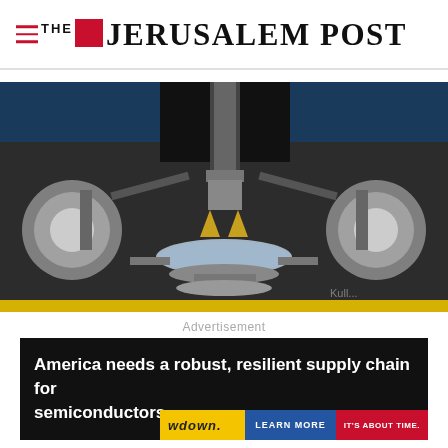THE JERUSALEM POST
[Figure (photo): Close-up photo of semiconductor manufacturing equipment — a wafer probe station with metallic arms, probe tips touching a silicon wafer, industrial machinery in background. Watermark partially visible at bottom right.]
Advertisement
America needs a robust, resilient supply chain for semiconductors